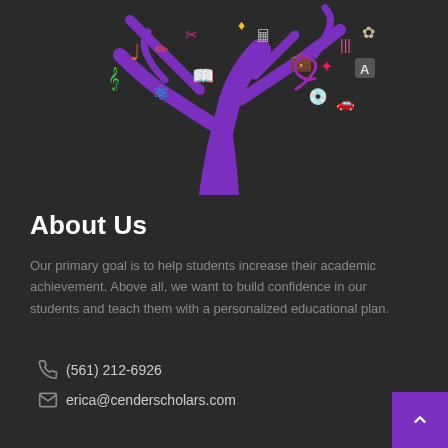[Figure (illustration): Colorful knowledge tree with purple trunk and branches decorated with educational icons (music note, atom, book, briefcase, calculator, car, etc.) on a dark background]
About Us
Our primary goal is to help students increase their academic achievement. Above all, we want to build confidence in our students and teach them with a personalized educational plan.
(561) 212-6926
erica@cenderscholars.com